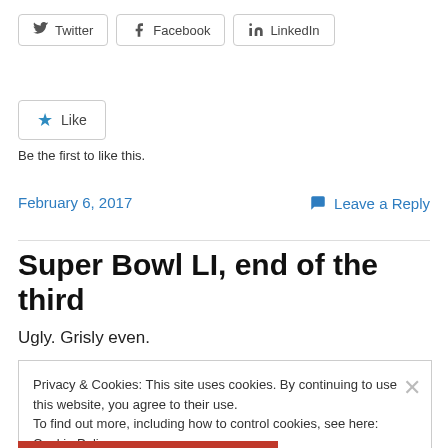[Figure (other): Social sharing buttons: Twitter, Facebook, LinkedIn]
[Figure (other): Like button with star icon]
Be the first to like this.
February 6, 2017
Leave a Reply
Super Bowl LI, end of the third
Ugly. Grisly even.
Privacy & Cookies: This site uses cookies. By continuing to use this website, you agree to their use.
To find out more, including how to control cookies, see here: Cookie Policy
Close and accept